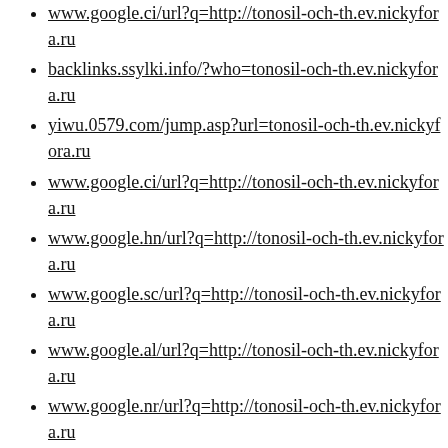www.google.ci/url?q=http://tonosil-och-th.ev.nickyfora.ru
backlinks.ssylki.info/?who=tonosil-och-th.ev.nickyfora.ru
yiwu.0579.com/jump.asp?url=tonosil-och-th.ev.nickyfora.ru
www.google.ci/url?q=http://tonosil-och-th.ev.nickyfora.ru
www.google.hn/url?q=http://tonosil-och-th.ev.nickyfora.ru
www.google.sc/url?q=http://tonosil-och-th.ev.nickyfora.ru
www.google.al/url?q=http://tonosil-och-th.ev.nickyfora.ru
www.google.nr/url?q=http://tonosil-och-th.ev.nickyfora.ru
www.google.tn/url?q=http://tonosil-och-th.ev.nickyfora.ru
www.google.iq/url?q=http://tonosil-och-